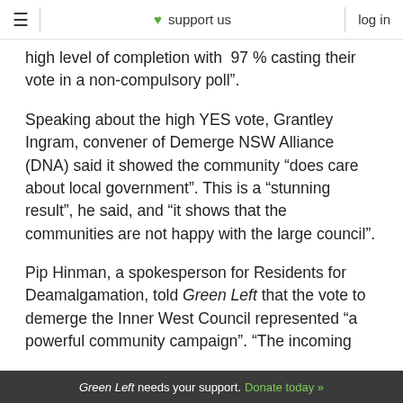≡  ♥ support us  |  log in
high level of completion with  97 % casting their vote in a non-compulsory poll”.
Speaking about the high YES vote, Grantley Ingram, convener of Demerge NSW Alliance (DNA) said it showed the community “does care about local government”. This is a “stunning result”, he said, and “it shows that the communities are not happy with the large council”.
Pip Hinman, a spokesperson for Residents for Deamalgamation, told Green Left that the vote to demerge the Inner West Council represented “a powerful community campaign”. “The incoming
Green Left needs your support. Donate today »